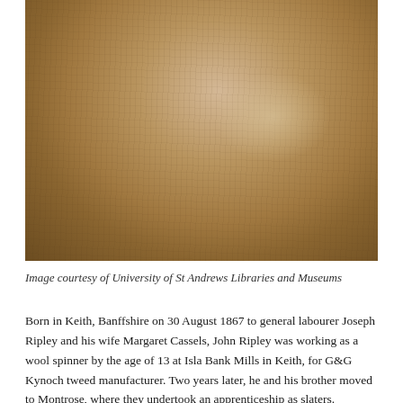[Figure (photo): Sepia-toned photograph showing the torso and chest of a soldier in military uniform with sergeant stripes visible on the left sleeve, and a row of medals including what appears to be a Victoria Cross and several campaign medals pinned to the left chest of the jacket. The uniform has large breast pockets with buttons.]
Image courtesy of University of St Andrews Libraries and Museums
Born in Keith, Banffshire on 30 August 1867 to general labourer Joseph Ripley and his wife Margaret Cassels, John Ripley was working as a wool spinner by the age of 13 at Isla Bank Mills in Keith, for G&G Kynoch tweed manufacturer. Two years later, he and his brother moved to Montrose, where they undertook an apprenticeship as slaters. However, at the time of the 1891 census John was in Bonhill in